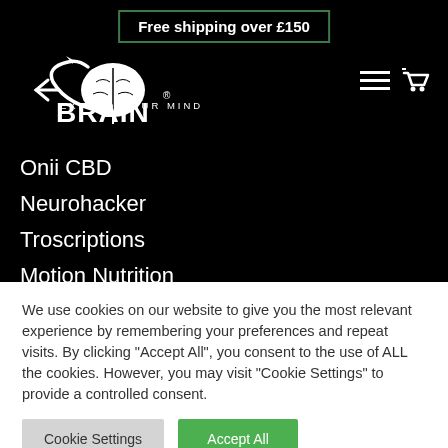Free shipping over £150
[Figure (logo): XBrain logo with brain graphic and tagline 'EXPAND YOUR MIND']
Onii CBD
Neurohacker
Troscriptions
Motion Nutrition
We use cookies on our website to give you the most relevant experience by remembering your preferences and repeat visits. By clicking "Accept All", you consent to the use of ALL the cookies. However, you may visit "Cookie Settings" to provide a controlled consent.
Cookie Settings | Accept All